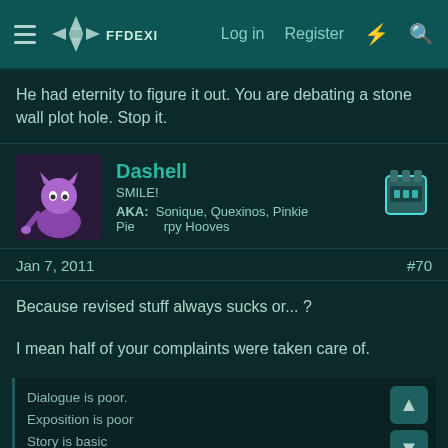Log in  Register
He had eternity to figure it out. You are debating a stone wall plot hole. Stop it.
Dashell
SMILE!
AKA: Sonique, Quexinos, Pinkie Pie, Happy Hooves
Jan 7, 2011   #70
Because revised stuff always sucks or... ?
I mean half of your complaints were taken care of.
Dialogue is poor.
Exposition is poor
Story is basic
use of special effects is too long and at the expense of story
No attempts made to explain certain events (like Rufus surviving, and getting up from his wheel chair)